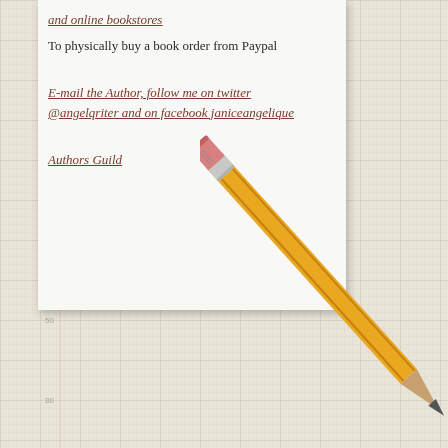and online bookstores
To physically buy a book order from Paypal
E-mail the Author, follow me on twitter @angelqriter and on facebook janiceangelique
Authors Guild
[Figure (illustration): A yellow pencil diagonally placed over graph paper background, with eraser at the bottom]